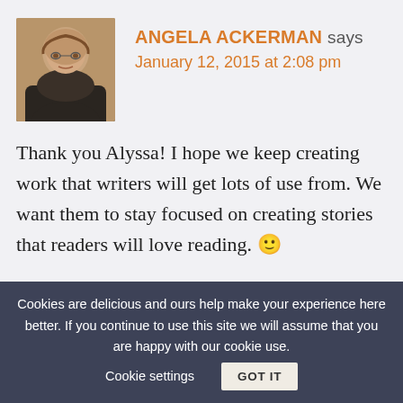[Figure (photo): Profile photo of Angela Ackerman, a woman with short brown hair and glasses, smiling]
ANGELA ACKERMAN says
January 12, 2015 at 2:08 pm
Thank you Alyssa! I hope we keep creating work that writers will get lots of use from. We want them to stay focused on creating stories that readers will love reading. 🙂
Cookies are delicious and ours help make your experience here better. If you continue to use this site we will assume that you are happy with our cookie use.    Cookie settings    GOT IT